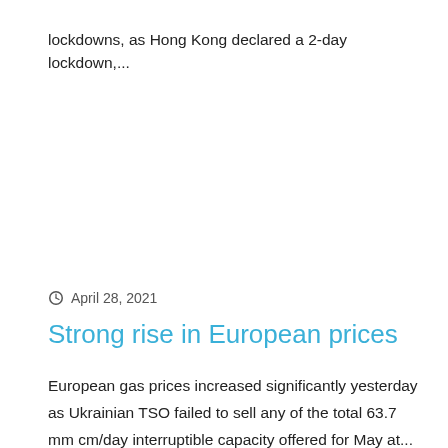lockdowns, as Hong Kong declared a 2-day lockdown,...
April 28, 2021
Strong rise in European prices
European gas prices increased significantly yesterday as Ukrainian TSO failed to sell any of the total 63.7 mm cm/day interruptible capacity offered for May at...